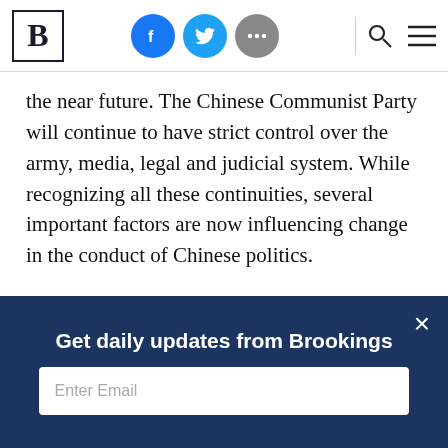Brookings Institution website header with logo, social share icons (Facebook, Twitter, more), search and menu icons
the near future. The Chinese Communist Party will continue to have strict control over the army, media, legal and judicial system. While recognizing all these continuities, several important factors are now influencing change in the conduct of Chinese politics.
One is the emergence of two almost equally powerful coalitions that represent different social and geographical divisions in China. Factional
Get daily updates from Brookings
Enter Email